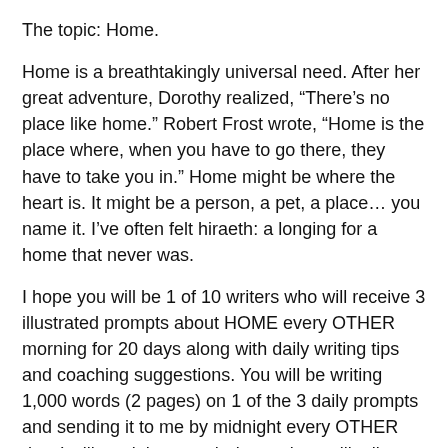The topic: Home.
Home is a breathtakingly universal need. After her great adventure, Dorothy realized, “There’s no place like home.” Robert Frost wrote, “Home is the place where, when you have to go there, they have to take you in.” Home might be where the heart is. It might be a person, a pet, a place… you name it. I’ve often felt hiraeth: a longing for a home that never was.
I hope you will be 1 of 10 writers who will receive 3 illustrated prompts about HOME every OTHER morning for 20 days along with daily writing tips and coaching suggestions. You will be writing 1,000 words (2 pages) on 1 of the 3 daily prompts and sending it to me by midnight every OTHER day. I will read them each day and we will talk about your writing at the end of Slipper Camp.